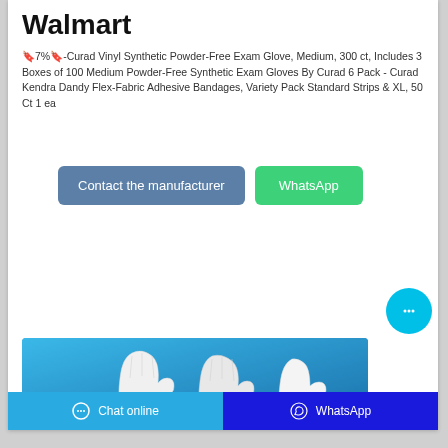Walmart
🔖7%🔖-Curad Vinyl Synthetic Powder-Free Exam Glove, Medium, 300 ct, Includes 3 Boxes of 100 Medium Powder-Free Synthetic Exam Gloves By Curad 6 Pack - Curad Kendra Dandy Flex-Fabric Adhesive Bandages, Variety Pack Standard Strips & XL, 50 Ct 1 ea
[Figure (screenshot): Blue background product image showing white vinyl exam gloves]
Chat online  WhatsApp